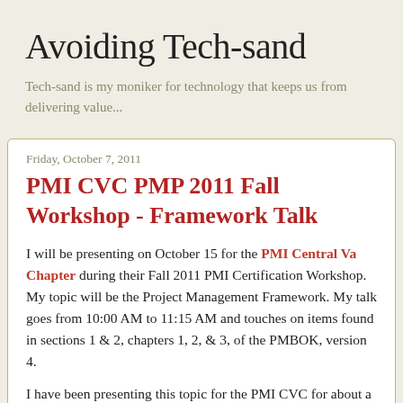Avoiding Tech-sand
Tech-sand is my moniker for technology that keeps us from delivering value...
Friday, October 7, 2011
PMI CVC PMP 2011 Fall Workshop - Framework Talk
I will be presenting on October 15 for the PMI Central Va Chapter during their Fall 2011 PMI Certification Workshop. My topic will be the Project Management Framework. My talk goes from 10:00 AM to 11:15 AM and touches on items found in sections 1 & 2, chapters 1, 2, & 3, of the PMBOK, version 4.
I have been presenting this topic for the PMI CVC for about a year. In my session I will be discussing these topics and